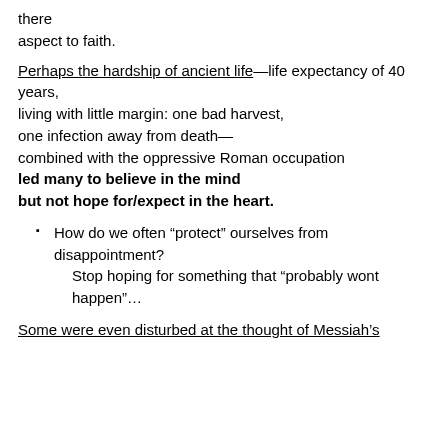there
aspect to faith.
Perhaps the hardship of ancient life—life expectancy of 40 years,
living with little margin: one bad harvest,
one infection away from death—
combined with the oppressive Roman occupation
led many to believe in the mind
but not hope for/expect in the heart.
How do we often “protect” ourselves from disappointment?
Stop hoping for something that “probably wont happen”…
Some were even disturbed at the thought of Messiah’s